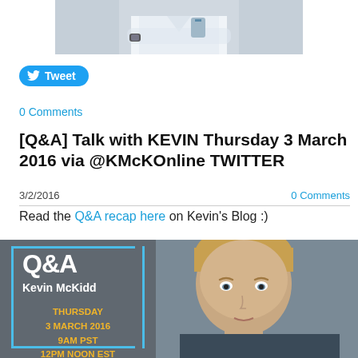[Figure (photo): Partial photo of person in white coat/medical attire, cropped at top]
Tweet
0 Comments
[Q&A] Talk with KEVIN Thursday 3 March 2016 via @KMcKOnline TWITTER
3/2/2016
0 Comments
Read the Q&A recap here on Kevin's Blog :)
[Figure (photo): Promotional image for Q&A with Kevin McKidd. Dark grey background with man's face. Text overlay: Q&A, Kevin McKidd, THURSDAY 3 MARCH 2016, 9AM PST, 12PM NOON EST. Light blue bracket border on left side.]